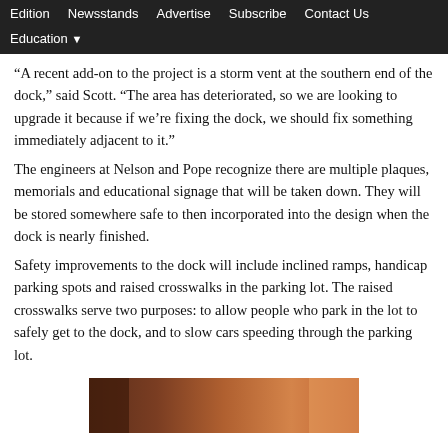Edition | Newsstands | Advertise | Subscribe | Contact Us | Education
“A recent add-on to the project is a storm vent at the southern end of the dock,” said Scott. “The area has deteriorated, so we are looking to upgrade it because if we’re fixing the dock, we should fix something immediately adjacent to it.”
The engineers at Nelson and Pope recognize there are multiple plaques, memorials and educational signage that will be taken down. They will be stored somewhere safe to then incorporated into the design when the dock is nearly finished.
Safety improvements to the dock will include inclined ramps, handicap parking spots and raised crosswalks in the parking lot. The raised crosswalks serve two purposes: to allow people who park in the lot to safely get to the dock, and to slow cars speeding through the parking lot.
[Figure (photo): Partial view of a person, background shows wooden door or wall, warm tones]